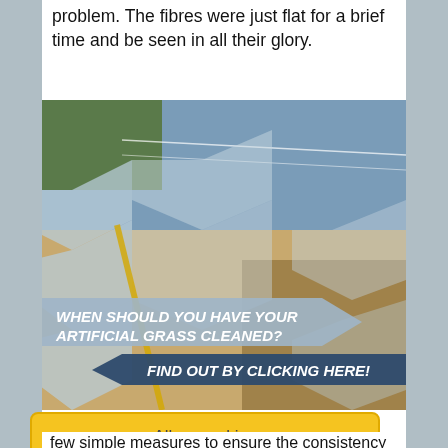problem. The fibres were just flat for a brief time and be seen in all their glory.
[Figure (photo): Photograph of an artificial grass sports field being cleaned or maintained, with a banner overlay reading 'WHEN SHOULD YOU HAVE YOUR ARTIFICIAL GRASS CLEANED? FIND OUT BY CLICKING HERE!']
Allow cookies
few simple measures to ensure the consistency a